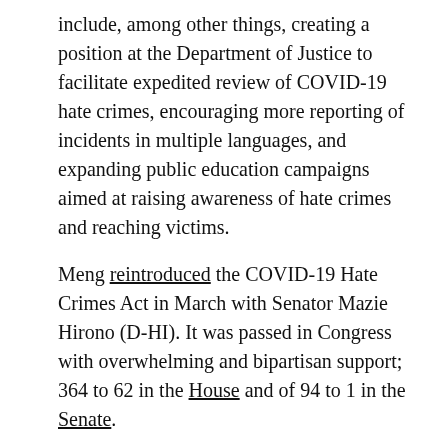include, among other things, creating a position at the Department of Justice to facilitate expedited review of COVID-19 hate crimes, encouraging more reporting of incidents in multiple languages, and expanding public education campaigns aimed at raising awareness of hate crimes and reaching victims.
Meng reintroduced the COVID-19 Hate Crimes Act in March with Senator Mazie Hirono (D-HI). It was passed in Congress with overwhelming and bipartisan support; 364 to 62 in the House and of 94 to 1 in the Senate.
“The Community-based Approaches to Advancing Justice grant, championed by Congresswoman Grace Meng, recognizes that our communities are in crisis,” said Jo-Ann Yoo, Executive Director of the Asian American Federation. “Victims and their families continue to struggle to overcome the terrible physical, mental, and economic toll of hate violence: our